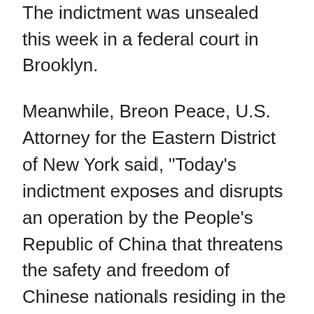The indictment was unsealed this week in a federal court in Brooklyn.
Meanwhile, Breon Peace, U.S. Attorney for the Eastern District of New York said, "Today's indictment exposes and disrupts an operation by the People's Republic of China that threatens the safety and freedom of Chinese nationals residing in the U.S. on account of their pro-democracy beliefs and speech."
In a written statement provided to Reuters, the Chinese embassy in Washington D.C. responded, "The so-called accusations made by the U.S. is a